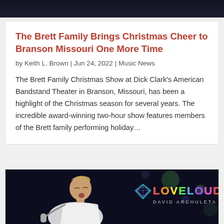[Figure (photo): Dark concert/performance photo strip at top of page]
The Brett Family Brings Christmas Cheer to Branson Missouri One More Time
by Keith L. Brown | Jun 24, 2022 | Music News
The Brett Family Christmas Show at Dick Clark's American Bandstand Theater in Branson, Missouri, has been a highlight of the Christmas season for several years. The incredible award-winning two-hour show features members of the Brett family performing holiday...
[Figure (photo): Concert photo of a young male singer with microphone, with LOVELOUD David Archuleta branding/logo overlay on right side]